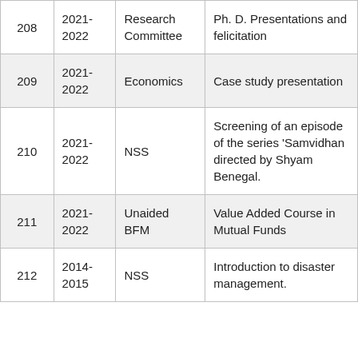| Sr. No. | Year | Department | Description |
| --- | --- | --- | --- |
| 208 | 2021-2022 | Research Committee | Ph. D. Presentations and felicitation |
| 209 | 2021-2022 | Economics | Case study presentation |
| 210 | 2021-2022 | NSS | Screening of an episode of the series 'Samvidhan directed by Shyam Benegal. |
| 211 | 2021-2022 | Unaided BFM | Value Added Course in Mutual Funds |
| 212 | 2014-2015 | NSS | Introduction to disaster management. |